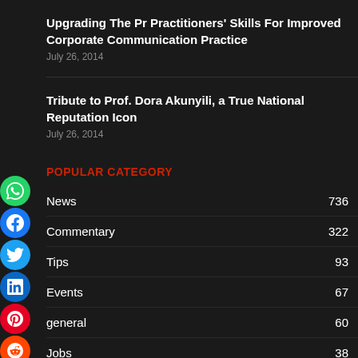Upgrading The Pr Practitioners' Skills For Improved Corporate Communication Practice
July 26, 2014
Tribute to Prof. Dora Akunyili, a True National Reputation Icon
July 26, 2014
POPULAR CATEGORY
News 736
Commentary 322
Tips 93
Events 67
general 60
Jobs 38